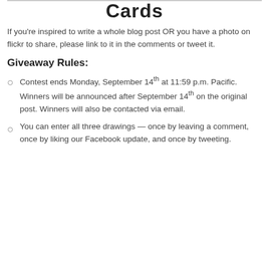Cards
If you're inspired to write a whole blog post OR you have a photo on flickr to share, please link to it in the comments or tweet it.
Giveaway Rules:
Contest ends Monday, September 14th at 11:59 p.m. Pacific. Winners will be announced after September 14th on the original post. Winners will also be contacted via email.
You can enter all three drawings — once by leaving a comment, once by liking our Facebook update, and once by tweeting.